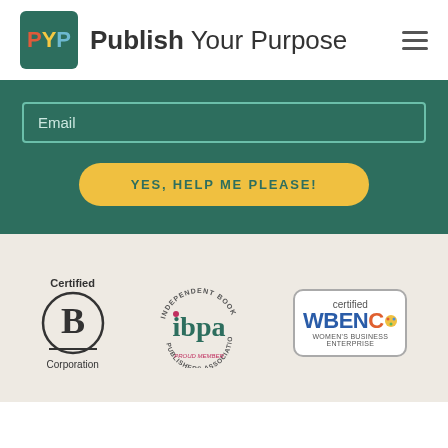[Figure (logo): Publish Your Purpose logo with PYP initials in a dark green box and hamburger menu icon]
[Figure (screenshot): Dark green email subscription form section with Email input field and yellow YES, HELP ME PLEASE! button]
[Figure (logo): Three certification badges: Certified B Corporation, IBPA Independent Book Publishers Association Proud Member, and Certified WBENC Women's Business Enterprise]